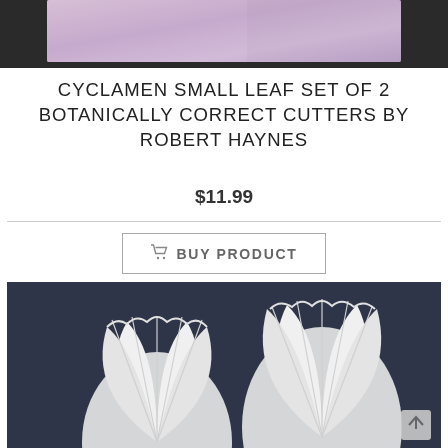[Figure (photo): Top portion of a product image showing a pink/purple watercolor paper on a dark background]
CYCLAMEN SMALL LEAF SET OF 2 BOTANICALLY CORRECT CUTTERS BY ROBERT HAYNES
$11.99
BUY PRODUCT
[Figure (photo): Two white leaf-shaped cutters with fan/petal ridged details on a dark navy background]